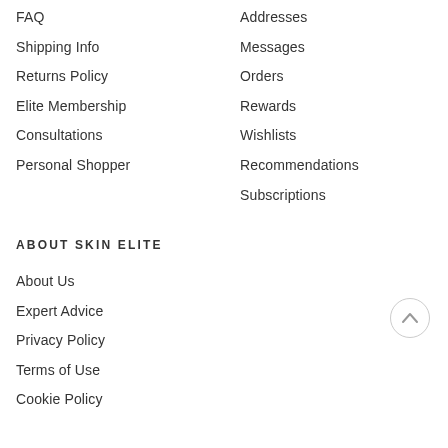FAQ
Shipping Info
Returns Policy
Elite Membership
Consultations
Personal Shopper
Addresses
Messages
Orders
Rewards
Wishlists
Recommendations
Subscriptions
ABOUT SKIN ELITE
About Us
Expert Advice
Privacy Policy
Terms of Use
Cookie Policy